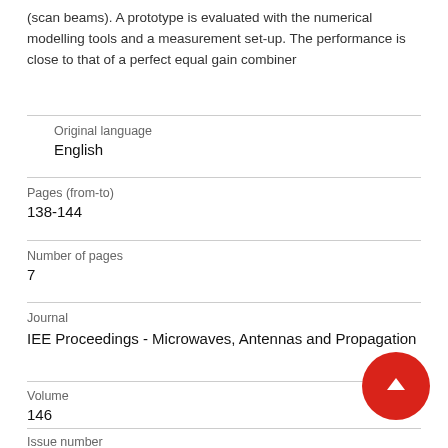(scan beams). A prototype is evaluated with the numerical modelling tools and a measurement set-up. The performance is close to that of a perfect equal gain combiner
| Original language | English |
| Pages (from-to) | 138-144 |
| Number of pages | 7 |
| Journal | IEE Proceedings - Microwaves, Antennas and Propagation |
| Volume | 146 |
| Issue number | 2 |